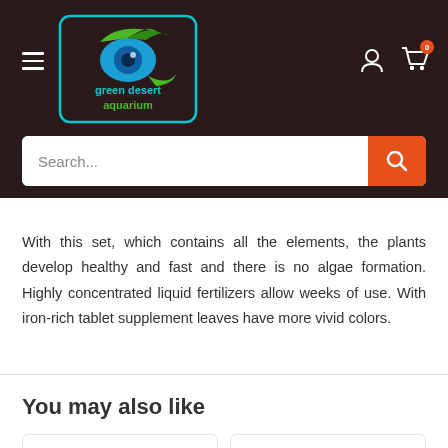[Figure (logo): Green Desert Aquarium logo: blue eye with green swoosh, text 'green desert aquarium' in cyan/green, inside a cyan rounded rectangle border, on dark brown background]
With this set, which contains all the elements, the plants develop healthy and fast and there is no algae formation. Highly concentrated liquid fertilizers allow weeks of use. With iron-rich tablet supplement leaves have more vivid colors.
You may also like